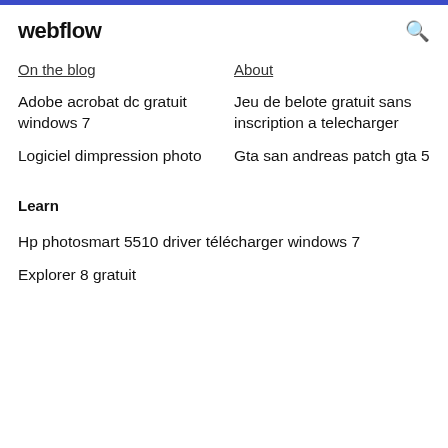webflow
On the blog
About
Adobe acrobat dc gratuit windows 7
Logiciel dimpression photo
Jeu de belote gratuit sans inscription a telecharger
Gta san andreas patch gta 5
Learn
Hp photosmart 5510 driver télécharger windows 7
Explorer 8 gratuit